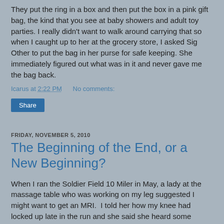They put the ring in a box and then put the box in a pink gift bag, the kind that you see at baby showers and adult toy parties. I really didn't want to walk around carrying that so when I caught up to her at the grocery store, I asked Sig Other to put the bag in her purse for safe keeping. She immediately figured out what was in it and never gave me the bag back.
Icarus at 2:22 PM    No comments:
Share
FRIDAY, NOVEMBER 5, 2010
The Beginning of the End, or a New Beginning?
When I ran the Soldier Field 10 Miler in May, a lady at the massage table who was working on my leg suggested I might want to get an MRI.  I told her how my knee had locked up late in the run and she said she heard some